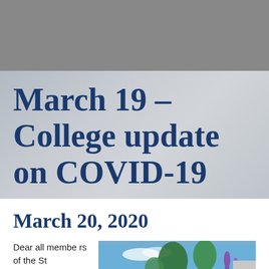[Figure (photo): Gray header background area at the top of the page]
March 19 – College update on COVID-19
March 20, 2020
Dear all members of the St
[Figure (photo): Outdoor photo of a college campus with palm trees, blue sky, red brick building, and tall purple flower stalks]